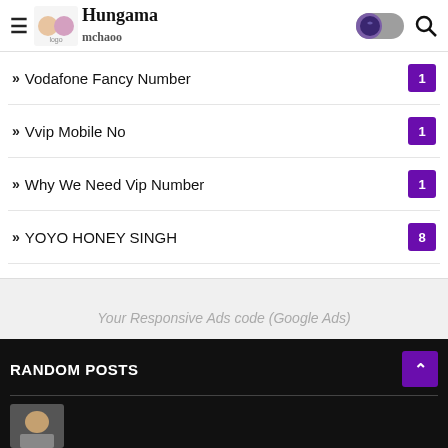Hungama Mchaoo - header with hamburger, logo, dark mode toggle, search
» Vodafone Fancy Number 1
» Vvip Mobile No 1
» Why We Need Vip Number 1
» YOYO HONEY SINGH 8
[Figure (other): Responsive Ads placeholder (Google Ads)]
RANDOM POSTS
[Figure (photo): Thumbnail image for random post]